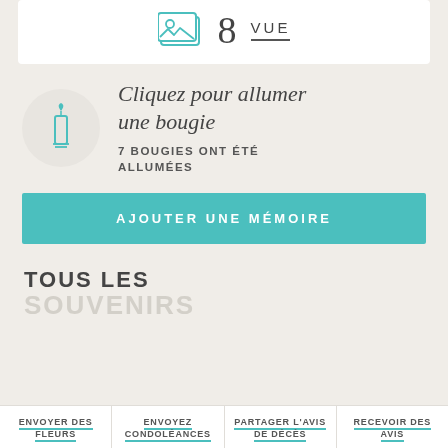[Figure (illustration): Photo strip with image icon showing 8 VUE label]
8  VUE
[Figure (illustration): Teal candle icon in a light grey circle]
Cliquez pour allumer une bougie
7 BOUGIES ONT ÉTÉ ALLUMÉES
AJOUTER UNE MÉMOIRE
TOUS LES
SOUVENIRS
ENVOYER DES FLEURS
ENVOYEZ CONDOLÉANCES
PARTAGER L'AVIS DE DÉCÈS
RECEVOIR DES AVIS